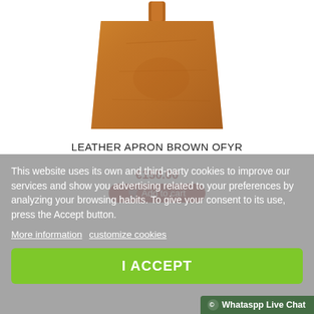[Figure (photo): Brown leather apron with strap, viewed from front, tan/cognac color]
LEATHER APRON BROWN OFYR
€150.00
Add to cart
This website uses its own and third-party cookies to improve our services and show you advertising related to your preferences by analyzing your browsing habits. To give your consent to its use, press the Accept button.
More information   customize cookies
I ACCEPT
© Whataspp Live Chat